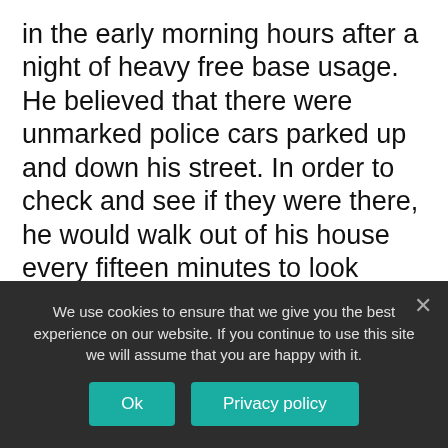in the early morning hours after a night of heavy free base usage. He believed that there were unmarked police cars parked up and down his street. In order to check and see if they were there, he would walk out of his house every fifteen minutes to look inside his mailbox while scanning the street for unmarked police cars. He felt that this was the only inconspicuous way he could check for signs of trouble.
Marijuana : Let's get “mellow” and “let’s chill out” are subjective terms used to
We use cookies to ensure that we give you the best experience on our website. If you continue to use this site we will assume that you are happy with it.